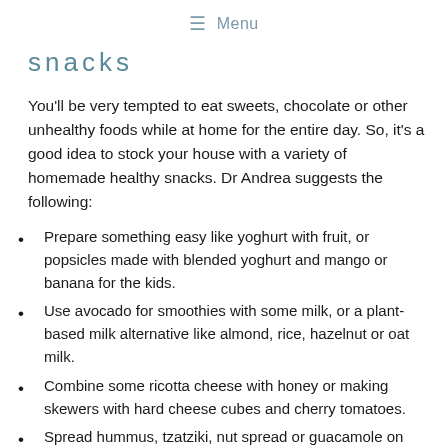≡ Menu
snacks
You'll be very tempted to eat sweets, chocolate or other unhealthy foods while at home for the entire day. So, it's a good idea to stock your house with a variety of homemade healthy snacks. Dr Andrea suggests the following:
Prepare something easy like yoghurt with fruit, or popsicles made with blended yoghurt and mango or banana for the kids.
Use avocado for smoothies with some milk, or a plant-based milk alternative like almond, rice, hazelnut or oat milk.
Combine some ricotta cheese with honey or making skewers with hard cheese cubes and cherry tomatoes.
Spread hummus, tzatziki, nut spread or guacamole on